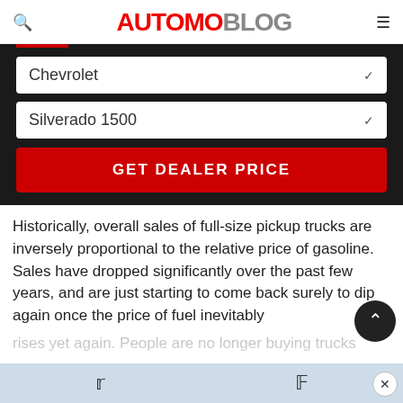AUTOMOBLOG
[Figure (screenshot): Dark background UI section with two dropdown menus (Chevrolet, Silverado 1500) and a red GET DEALER PRICE button]
Historically, overall sales of full-size pickup trucks are inversely proportional to the relative price of gasoline. Sales have dropped significantly over the past few years, and are just starting to come back surely to dip again once the price of fuel inevitably rises yet again. People are no longer buying trucks